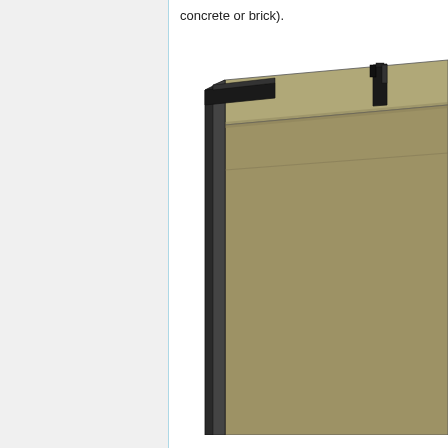concrete or brick).
[Figure (engineering-diagram): 3D isometric CAD rendering of a flat panel wall cladding system showing a large rectangular panel in tan/khaki color with dark grey metal edge trim channels along the top and left sides, viewed from a perspective angle showing the top face and front face of the panel assembly.]